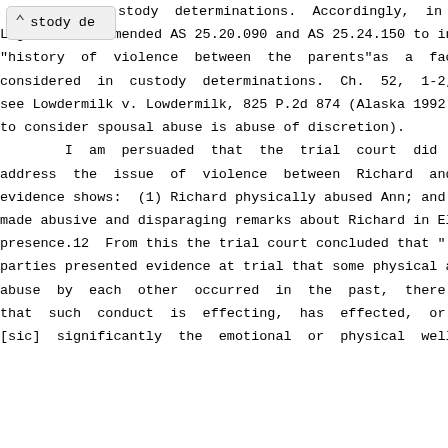stody determinations. Accordingly, in 1989 the
Legislature amended AS 25.20.090 and AS 25.24.150 to incl "history of violence between the parents"as a factor considered in custody determinations. Ch. 52, 1-2, S see Lowdermilk v. Lowdermilk, 825 P.2d 874 (Alaska 1992) to consider spousal abuse is abuse of discretion).
        I am persuaded that the trial court did not address the issue of violence between Richard and A evidence shows: (1) Richard physically abused Ann; and made abusive and disparaging remarks about Richard in El presence.12 From this the trial court concluded that "[ parties presented evidence at trial that some physical a abuse by each other occurred in the past, there is no that such conduct is effecting, has effected, or wi [sic] significantly the emotional or physical well-b